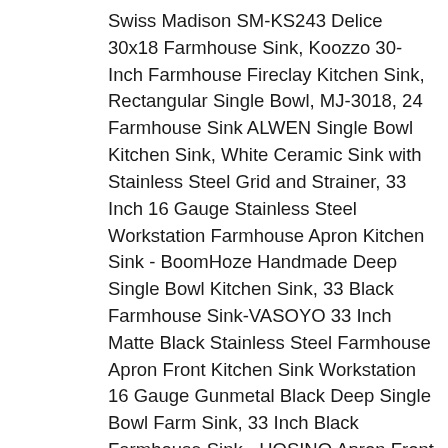Swiss Madison SM-KS243 Delice 30x18 Farmhouse Sink, Koozzo 30-Inch Farmhouse Fireclay Kitchen Sink, Rectangular Single Bowl, MJ-3018, 24 Farmhouse Sink ALWEN Single Bowl Kitchen Sink, White Ceramic Sink with Stainless Steel Grid and Strainer, 33 Inch 16 Gauge Stainless Steel Workstation Farmhouse Apron Kitchen Sink - BoomHoze Handmade Deep Single Bowl Kitchen Sink, 33 Black Farmhouse Sink-VASOYO 33 Inch Matte Black Stainless Steel Farmhouse Apron Front Kitchen Sink Workstation 16 Gauge Gunmetal Black Deep Single Bowl Farm Sink, 33 Inch Black Farmhouse Sink - HOSINO Apron Front Kitchen Sink 16 Gauge Stainless Steel Single Bowl Black Kitchen Sink Curved Front, VAPSINT SHASR3320C 33 Inch 16 Gauge Apron Front SUS304 Stainless Steel Farmhouse Kitchen Sink,Single Bowl Basin Kitchen Sinks Handmade Undermount Kitchen Farm Sink with Drain and Grid, HOSINO 33 Inch